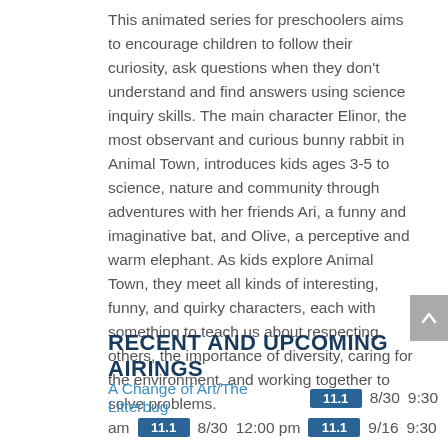This animated series for preschoolers aims to encourage children to follow their curiosity, ask questions when they don't understand and find answers using science inquiry skills. The main character Elinor, the most observant and curious bunny rabbit in Animal Town, introduces kids ages 3-5 to science, nature and community through adventures with her friends Ari, a funny and imaginative bat, and Olive, a perceptive and warm elephant. As kids explore Animal Town, they meet all kinds of interesting, funny, and quirky characters, each with something to teach us about respecting others, the importance of diversity, caring for the environment, and working together to solve problems.
RECENT AND UPCOMING AIRINGS
A Change of Art/The Litterbug  11.1  8/30  9:30 am  11.1  8/30  12:00 pm  11.1  9/16  9:30